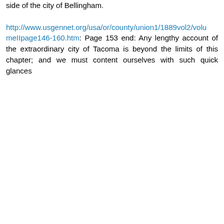side of the city of Bellingham. http://www.usgennet.org/usa/or/county/union1/1889vol2/volumeIIpage146-160.htm: Page 153 end: Any lengthy account of the extraordinary city of Tacoma is beyond the limits of this chapter; and we must content ourselves with such quick glances